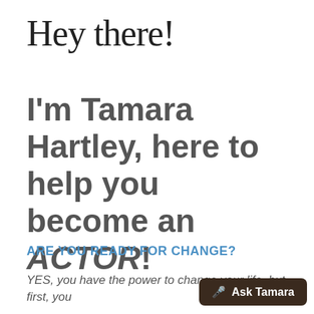Hey there!
I'm Tamara Hartley, here to help you become an ACTOR!
ARE YOU READY FOR CHANGE?
YES, you have the power to change your life, but first, you
[Figure (other): Chat button widget with microphone icon and text 'Ask Tamara' on dark brown background]